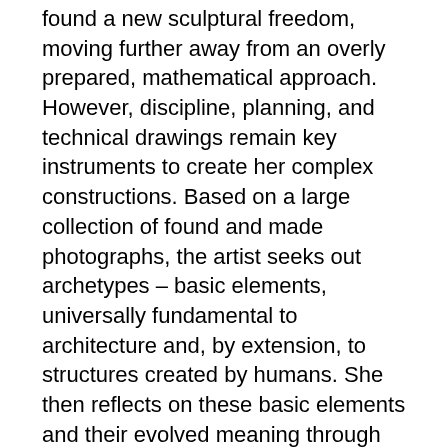found a new sculptural freedom, moving further away from an overly prepared, mathematical approach. However, discipline, planning, and technical drawings remain key instruments to create her complex constructions. Based on a large collection of found and made photographs, the artist seeks out archetypes – basic elements, universally fundamental to architecture and, by extension, to structures created by humans. She then reflects on these basic elements and their evolved meaning through time.
The human aspect is not to be disregarded in Vinck's work. Her oeuvre is essentially built around components and residues of human interventions in the existing landscape. For example, working around the shape of a bunker, her related works reminisce on protection, and possible new-found purposes of these sheltering architectures. Architectural elements become a